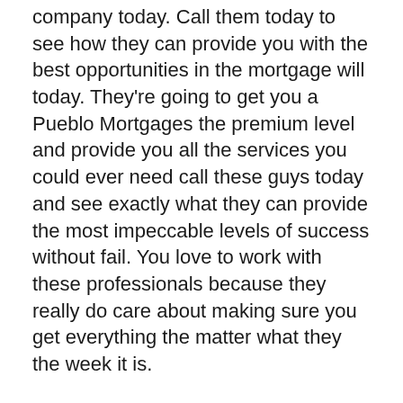company today. Call them today to see how they can provide you with the best opportunities in the mortgage will today. They're going to get you a Pueblo Mortgages the premium level and provide you all the services you could ever need call these guys today and see exactly what they can provide the most impeccable levels of success without fail. You love to work with these professionals because they really do care about making sure you get everything the matter what they the week it is.
Definitely, contact professionals at total lending concepts today to see exactly how they can provide you with all the amazing amenities they can be for me alone company today. Call them today and see exactly how they can provide you with all the benefits and be success stories you can call them at 719-225-1259 or check out their amazing website at pueblomortgages.com to see exactly how they can provide you with all the benefits you could ever need today. Call these guys today so they can provide you the